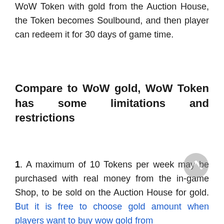WoW Token with gold from the Auction House, the Token becomes Soulbound, and then player can redeem it for 30 days of game time.
Compare to WoW gold, WoW Token has some limitations and restrictions
1. A maximum of 10 Tokens per week may be purchased with real money from the in-game Shop, to be sold on the Auction House for gold. But it is free to choose gold amount when players want to buy wow gold from